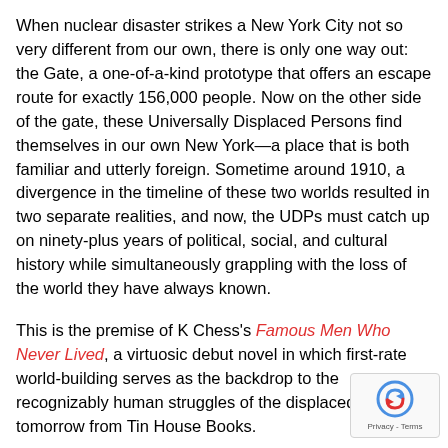When nuclear disaster strikes a New York City not so very different from our own, there is only one way out: the Gate, a one-of-a-kind prototype that offers an escape route for exactly 156,000 people. Now on the other side of the gate, these Universally Displaced Persons find themselves in our own New York—a place that is both familiar and utterly foreign. Sometime around 1910, a divergence in the timeline of these two worlds resulted in two separate realities, and now, the UDPs must catch up on ninety-plus years of political, social, and cultural history while simultaneously grappling with the loss of the world they have always known.
This is the premise of K Chess's Famous Men Who Never Lived, a virtuosic debut novel in which first-rate world-building serves as the backdrop to the recognizably human struggles of the displaced, out tomorrow from Tin House Books.
Before the Gate, the novel's protagonist Hel was a workaholic medical doctor; her partner, Vikram, was a PhD candidate studying a science fiction novel called The Pyronauts. A cult classic in Hel and Vikram's world, The Pyronauts exists in this new place only as a single paperback, carried through the Gate in Vikram's backpack. Deep in feelings of anger and grief, Hel becomes obsessed with the